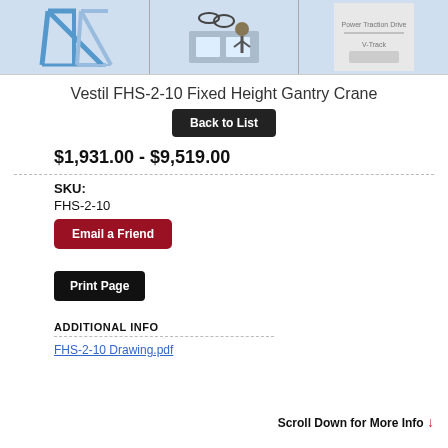[Figure (photo): Three product image thumbnails: two gantry crane illustrations (blue A-frame style) and one showing accessories/parts and power traction drive components]
Vestil FHS-2-10 Fixed Height Gantry Crane
Back to List
$1,931.00 - $9,519.00
SKU:
FHS-2-10
Email a Friend
Print Page
ADDITIONAL INFO
Scroll Down for More Info ↓
FHS-2-10 Drawing.pdf